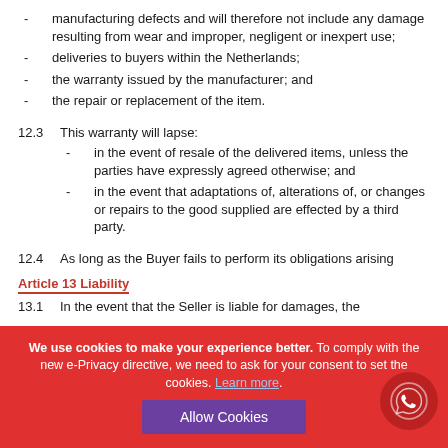- manufacturing defects and will therefore not include any damage resulting from wear and improper, negligent or inexpert use;
- deliveries to buyers within the Netherlands;
- the warranty issued by the manufacturer; and
- the repair or replacement of the item.
12.3  This warranty will lapse:
- in the event of resale of the delivered items, unless the parties have expressly agreed otherwise; and
- in the event that adaptations of, alterations of, or changes or repairs to the good supplied are effected by a third party.
12.4  As long as the Buyer fails to perform its obligations arising from... cannot invoke this warranty provision.
Article 13 Liability
13.1  In the event that the Seller is liable for damages, the...